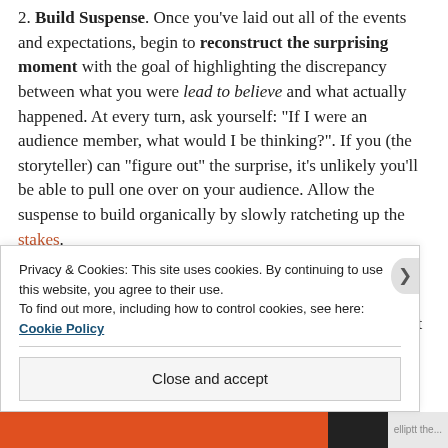2. Build Suspense. Once you've laid out all of the events and expectations, begin to reconstruct the surprising moment with the goal of highlighting the discrepancy between what you were lead to believe and what actually happened. At every turn, ask yourself: “If I were an audience member, what would I be thinking?”. If you (the storyteller) can “figure out” the surprise, it’s unlikely you’ll be able to pull one over on your audience. Allow the suspense to build organically by slowly ratcheting up the stakes.
3. Offer A Final Surprise. After you’ve paid off your audience with the surprise you promised, the last step is to provide a surprise after your audience believes the moment is over. The final surprise turns the initial expectations on
Privacy & Cookies: This site uses cookies. By continuing to use this website, you agree to their use. To find out more, including how to control cookies, see here: Cookie Policy
Close and accept